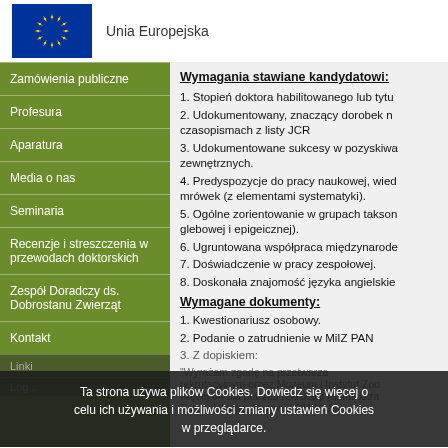[Figure (logo): EU flag blue background with yellow stars circle, followed by text 'Unia Europejska']
Zamówienia publiczne
Profesura
Aparatura
Media o nas
Seminaria
Recenzje i streszczenia w przewodach doktorskich
Zespół Doradczy ds. Dobrostanu Zwierząt
Kontakt
Wymagania stawiane kandydatowi:
1. Stopień doktora habilitowanego lub tytu
2. Udokumentowany, znaczący dorobek n czasopismach z listy JCR
3. Udokumentowane sukcesy w pozyskiwa zewnętrznych.
4. Predyspozycje do pracy naukowej, wied mrówek (z elementami systematyki).
5. Ogólne zorientowanie w grupach takson glebowej i epigeicznej).
6. Ugruntowana współpraca międzynarode
7. Doświadczenie w pracy zespołowej.
8. Doskonała znajomość języka angielskie
Wymagane dokumenty:
1. Kwestionariusz osobowy.
2. Podanie o zatrudnienie w MiIZ PAN
3. Z dopiskiem:
Ta strona używa plików Cookies. Dowiedz się więcej o celu ich używania i możliwości zmiany ustawień Cookies w przeglądarce.